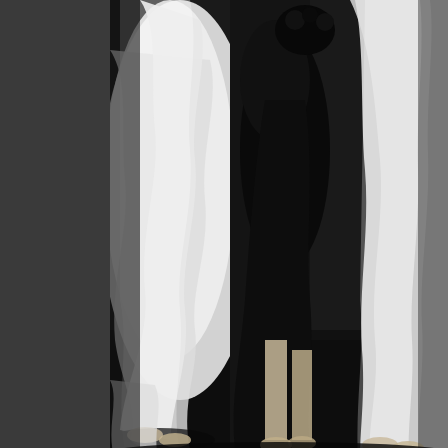[Figure (photo): Black and white photograph showing lower portions of costumed figures in long flowing white dresses/gowns, appearing to be from a theatrical production. The figures are standing on what appears to be a decorated floor or carpet. One figure has a dark floral headpiece.]
Tilla Durieux William Shakespeare, Sommernachtstraum Tilla Durieux als
Photo by ullstein bild
[Figure (photo): Sepia/mauve toned portrait photograph of a woman in profile view facing right, with dark hair styled up, against a dark background. The photo is mounted on a cream-colored card with a dotted border frame.]